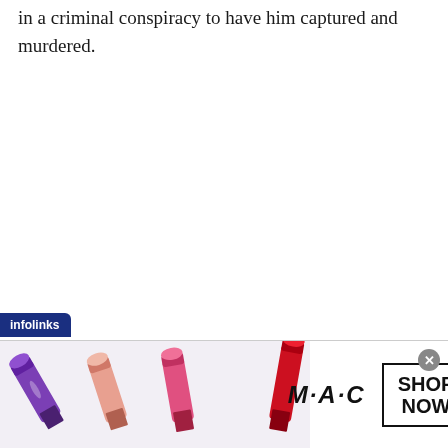in a criminal conspiracy to have him captured and murdered.
[Figure (infographic): Infolinks advertisement banner for MAC cosmetics featuring colorful lipsticks on the left side, MAC logo in the center, and a 'SHOP NOW' button box on the right. An infolinks tab label appears at the top-left and a close button (x) at the top-right.]